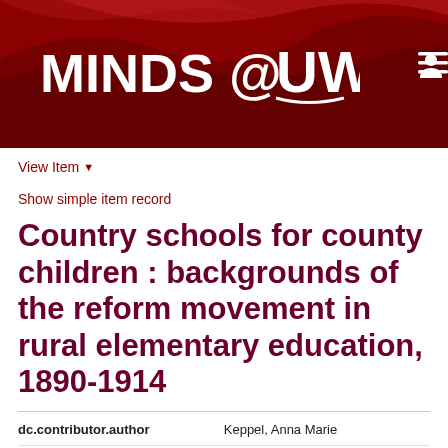[Figure (logo): MINDS @ UW logo on dark red banner with decorative wave, user icon and hamburger menu icon]
View Item ▾
Show simple item record
Country schools for county children : backgrounds of the reform movement in rural elementary education, 1890-1914
| dc.contributor.author |  |
| --- | --- |
| dc.contributor.author | Keppel, Anna Marie |